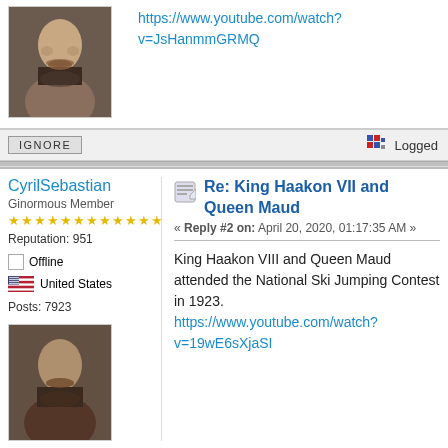https://www.youtube.com/watch?v=JsHanmmGRMQ
[Figure (photo): Avatar photo of a man with mustache, partial view at top of page]
IGNORE
Logged
CyrilSebastian
Re: King Haakon VII and Queen Maud
« Reply #2 on: April 20, 2020, 01:17:35 AM »
Ginormous Member
★★★★★★★★★★★★
Reputation: 951
Offline
United States
Posts: 7923
King Haakon VIII and Queen Maud attended the National Ski Jumping Contest in 1923.
https://www.youtube.com/watch?v=19wE6sXjaSI
[Figure (photo): Avatar photo of a man with mustache]